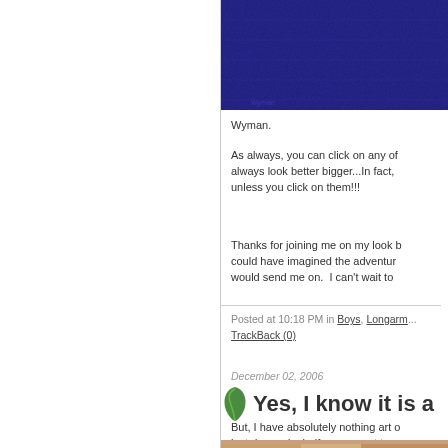[Figure (photo): Blue textured fabric or material photograph cropped at top of right column]
Wyman.
As always, you can click on any of…always look better bigger...In fact,…unless you click on them!!!
Thanks for joining me on my look b…could have imagined the adventur…would send me on.  I can't wait to
Posted at 10:18 PM in Boys, Longarm… TrackBack (0)
December 02, 2006
Yes, I know it is a
But, I have absolutely nothing art of…last day and a half, so you get to s…Halloween costumes.
[Figure (photo): Bottom partial image of what appears to be Halloween costumes]